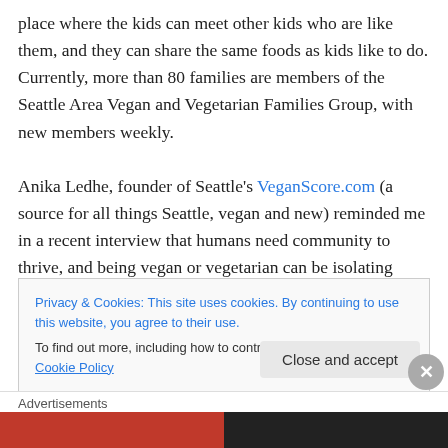place where the kids can meet other kids who are like them, and they can share the same foods as kids like to do. Currently, more than 80 families are members of the Seattle Area Vegan and Vegetarian Families Group, with new members weekly.

Anika Ledhe, founder of Seattle's VeganScore.com (a source for all things Seattle, vegan and new) reminded me in a recent interview that humans need community to thrive, and being vegan or vegetarian can be isolating regardless of your honorable intentions. Luckily, here in
Privacy & Cookies: This site uses cookies. By continuing to use this website, you agree to their use.
To find out more, including how to control cookies, see here: Cookie Policy
Close and accept
Advertisements